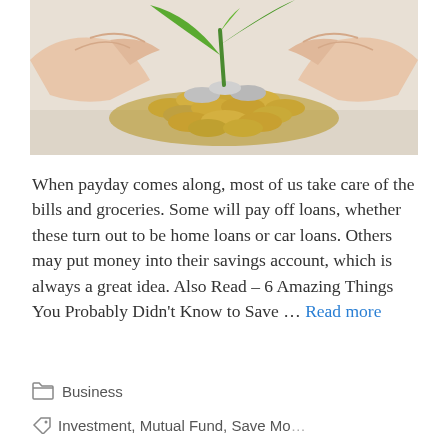[Figure (photo): Hands cupping a pile of coins with a small green plant growing from them, symbolizing financial growth and savings.]
When payday comes along, most of us take care of the bills and groceries. Some will pay off loans, whether these turn out to be home loans or car loans. Others may put money into their savings account, which is always a great idea. Also Read – 6 Amazing Things You Probably Didn't Know to Save … Read more
Business
Investment, Mutual Fund, Save Money